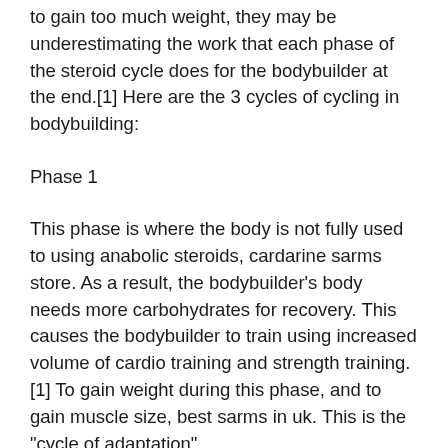to gain too much weight, they may be underestimating the work that each phase of the steroid cycle does for the bodybuilder at the end.[1] Here are the 3 cycles of cycling in bodybuilding:
Phase 1
This phase is where the body is not fully used to using anabolic steroids, cardarine sarms store. As a result, the bodybuilder's body needs more carbohydrates for recovery. This causes the bodybuilder to train using increased volume of cardio training and strength training. [1] To gain weight during this phase, and to gain muscle size, best sarms in uk. This is the "cycle of adaptation".
Phase 2
This phase of the cycle focuses on